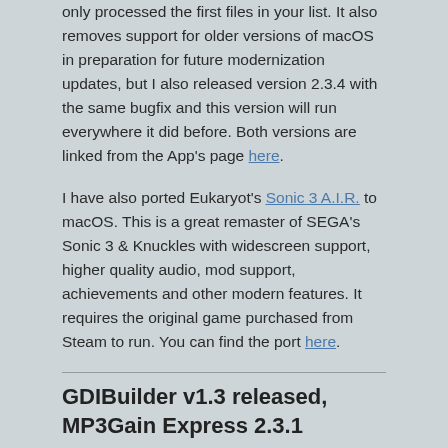only processed the first files in your list. It also removes support for older versions of macOS in preparation for future modernization updates, but I also released version 2.3.4 with the same bugfix and this version will run everywhere it did before. Both versions are linked from the App's page here.
I have also ported Eukaryot's Sonic 3 A.I.R. to macOS. This is a great remaster of SEGA's Sonic 3 & Knuckles with widescreen support, higher quality audio, mod support, achievements and other modern features. It requires the original game purchased from Steam to run. You can find the port here.
GDIBuilder v1.3 released, MP3Gain Express 2.3.1
Published: 12 December 2019
Over 4 years after the previous version, I